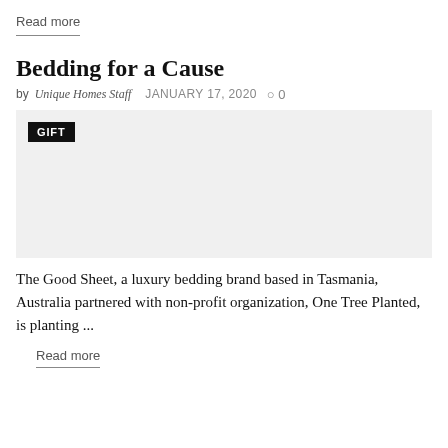Read more
Bedding for a Cause
by Unique Homes Staff   JANUARY 17, 2020   ○ 0
[Figure (other): Gray placeholder image with a GIFT badge in the top-left corner]
The Good Sheet, a luxury bedding brand based in Tasmania, Australia partnered with non-profit organization, One Tree Planted, is planting ...
Read more